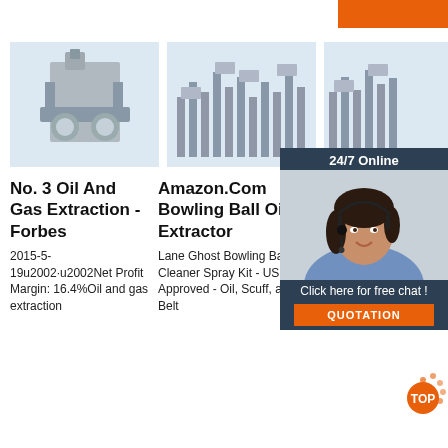[Figure (screenshot): Orange bar top right corner]
[Figure (photo): Three product/industrial images in a row: oil extraction machine, industrial plant, and partially obscured third image]
No. 3 Oil And Gas Extraction - Forbes
2015-5-19u2002·u2002Net Profit Margin: 16.4%Oil and gas extraction
Amazon.Com Bowling Ball Oil Extractor
Lane Ghost Bowling Ball Cleaner Spray Kit - USBC Approved - Oil, Scuff, and Belt
Dust Extractor F S Timbecon
The most comprehensive Dust Extractor Collection Kit
[Figure (screenshot): 24/7 Online chat widget with woman wearing headset, 'Click here for free chat!' text and QUOTATION button]